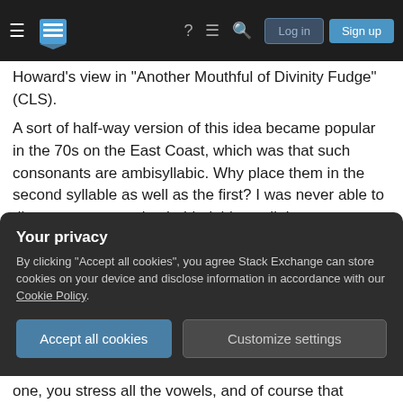Stack Exchange navigation header with hamburger menu, logo, help, chat, search icons, Log in and Sign up buttons
Howard's view in "Another Mouthful of Divinity Fudge" (CLS).
A sort of half-way version of this idea became popular in the 70s on the East Coast, which was that such consonants are ambisyllabic. Why place them in the second syllable as well as the first? I was never able to discern any reasoning behind this at all. I guess, something like "Well, everyone thinks they go in the second syllable, and now I find evidence they go in the first, so, duh, they must be in both syllables."
Your privacy
By clicking "Accept all cookies", you agree Stack Exchange can store cookies on your device and disclose information in accordance with our Cookie Policy.
Accept all cookies  Customize settings
one, you stress all the vowels, and of course that